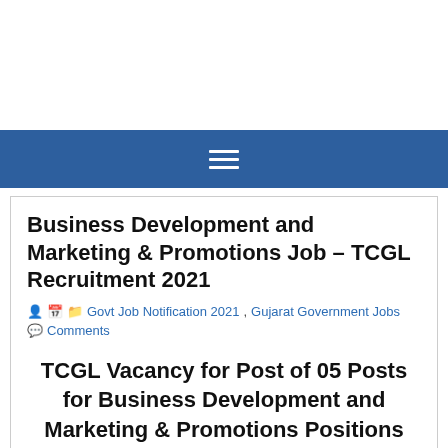Business Development and Marketing & Promotions Job – TCGL Recruitment 2021
Govt Job Notification 2021, Gujarat Government Jobs Comments
TCGL Vacancy for Post of 05 Posts for Business Development and Marketing & Promotions Positions 2021